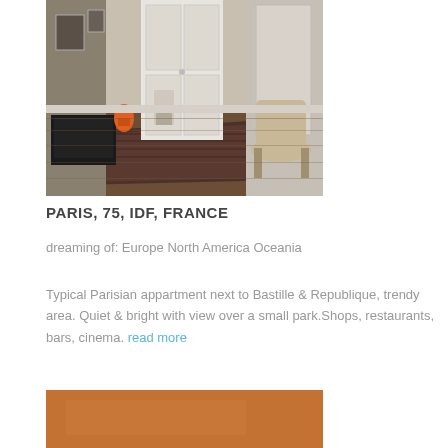[Figure (photo): Interior hallway/corridor of a Parisian apartment showing wooden floors, a patterned rug, white doors, a chair, dark furniture, and an orange object]
PARIS, 75, IDF, FRANCE
dreaming of: Europe North America Oceania
Typical Parisian appartment next to Bastille & Republique, trendy area. Quiet & bright with view over a small park.Shops, restaurants, bars, cinema. read more
[Figure (photo): Partial view of what appears to be an orange/brown sofa or furniture piece]